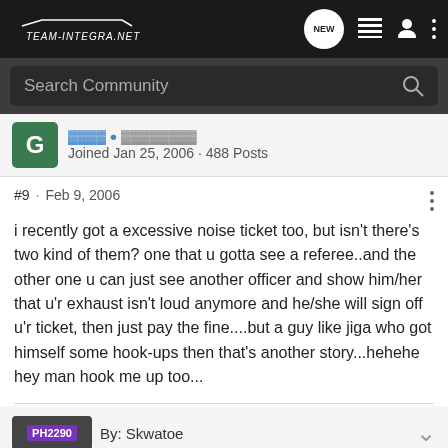Team-Integra.net navigation bar with logo, NEW button, list icon, user icon, more icon
Search Community
Joined Jan 25, 2006 · 488 Posts
#9 · Feb 9, 2006
i recently got a excessive noise ticket too, but isn't there's two kind of them? one that u gotta see a referee..and the other one u can just see another officer and show him/her that u'r exhaust isn't loud anymore and he/she will sign off u'r ticket, then just pay the fine....but a guy like jiga who got himself some hook-ups then that's another story...hehehe hey man hook me up too...
By: Skwatoe